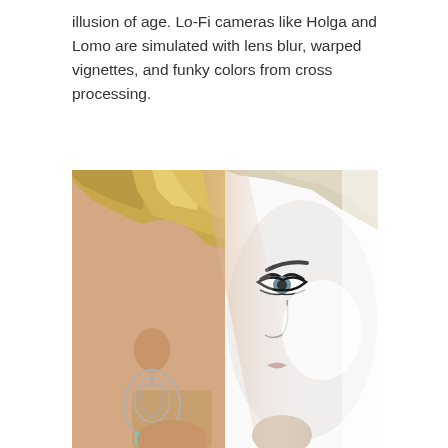illusion of age. Lo-Fi cameras like Holga and Lomo are simulated with lens blur, warped vignettes, and funky colors from cross processing.
[Figure (photo): A split image of a blonde woman wearing a turquoise chandelier earring. The left half shows a color photo of her profile/side face with warm skin tones, and the right half transitions to a high-key black and white portrait showing her face from the front with dramatic eye makeup.]